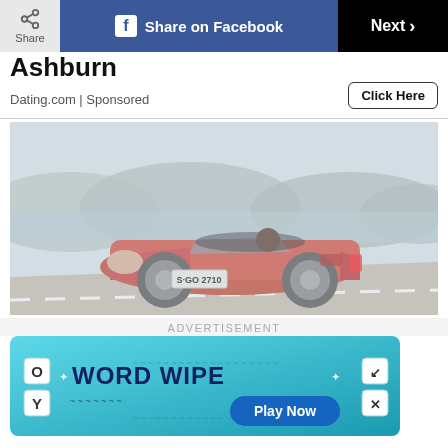[Figure (screenshot): Top navigation bar with Share button (grey), Share on Facebook button (blue with Facebook logo), and Next button (black with chevron)]
Ashburn
Dating.com | Sponsored
Click Here
[Figure (photo): Red/orange Porsche 718 Boxster convertible sports car with license plate S-GO 2710, driving on a coastal road with rocky cliffs and ocean in the background]
ADVERTISEMENT
[Figure (infographic): Word Wipe game advertisement banner on teal/cyan background with letter tiles showing O, Y and other letters, bold text reading WORD WIPE with stars, and a Play Now button in dark blue]